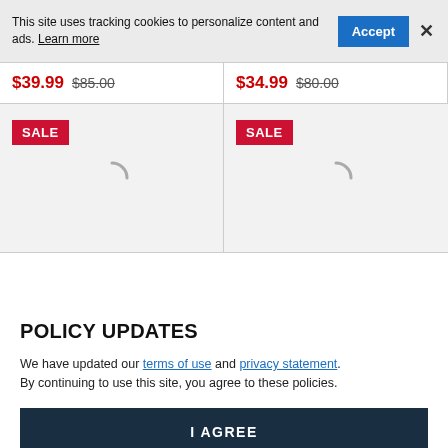This site uses tracking cookies to personalize content and ads. Learn more
$39.99  $85.00
$34.99  $80.00
[Figure (other): Product card with SALE badge and loading spinner icon]
[Figure (other): Product card with SALE badge and loading spinner icon]
POLICY UPDATES
We have updated our terms of use and privacy statement. By continuing to use this site, you agree to these policies.
I AGREE